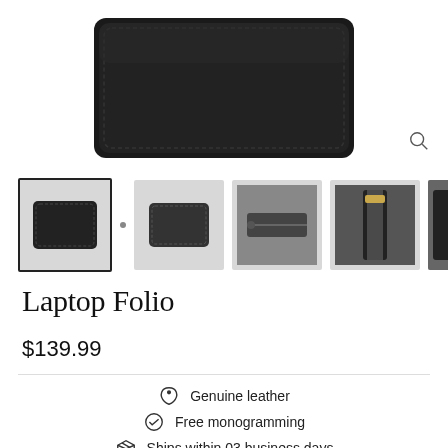[Figure (photo): Main product image of a black leather laptop folio case viewed from above]
[Figure (photo): Thumbnail gallery showing 5 views of the black leather laptop folio: front, angled view, zipper close-up, zipper detail, and edge view]
Laptop Folio
$139.99
Genuine leather
Free monogramming
Ships within 03 business days